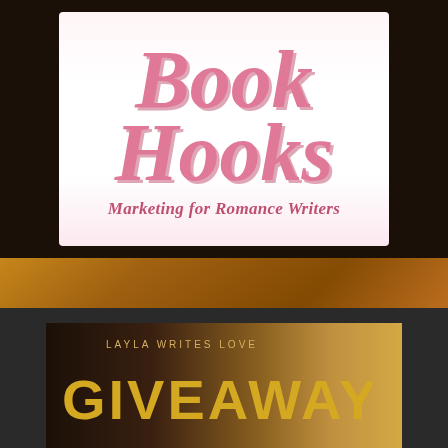[Figure (logo): Book Hooks logo — pink script text 'Book' and 'Hooks' on white/light pink background with tagline 'Marketing for Romance Writers']
[Figure (photo): Dark background with warm candlelight/amber tones, bottom portion showing a dark card with text 'LAYLA WRITES LOVE' and large gold text 'GIVEAWAYS' partially visible]